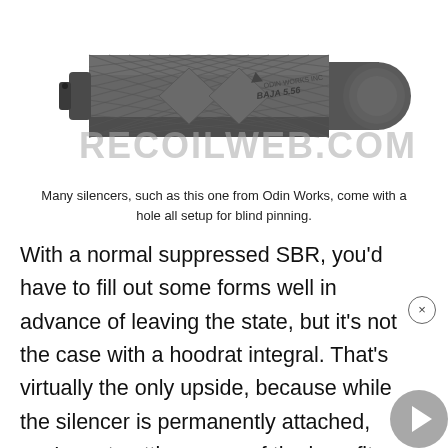[Figure (photo): A dark gray cylindrical firearm silencer/suppressor from Odin Works with diamond-pattern knurling on the body, engraved with 'ODIN WORKS INC BAJA 5.56', with a small hole on the left end for blind pinning. Watermark 'RECOILWEB.COM' overlaid in large gray text.]
Many silencers, such as this one from Odin Works, come with a hole all setup for blind pinning.
With a normal suppressed SBR, you'd have to fill out some forms well in advance of leaving the state, but it's not the case with a hoodrat integral. That's virtually the only upside, because while the silencer is permanently attached, you're not getting some of the benefits an actual integral can provide.